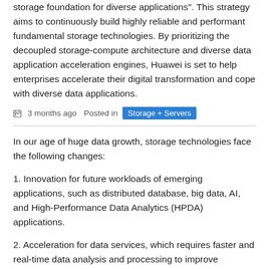storage foundation for diverse applications". This strategy aims to continuously build highly reliable and performant fundamental storage technologies. By prioritizing the decoupled storage-compute architecture and diverse data application acceleration engines, Huawei is set to help enterprises accelerate their digital transformation and cope with diverse data applications.
3 months ago   Posted in  Storage + Servers
In our age of huge data growth, storage technologies face the following changes:
1. Innovation for future workloads of emerging applications, such as distributed database, big data, AI, and High-Performance Data Analytics (HPDA) applications.
2. Acceleration for data services, which requires faster and real-time data analysis and processing to improve production efficiency and user experience.